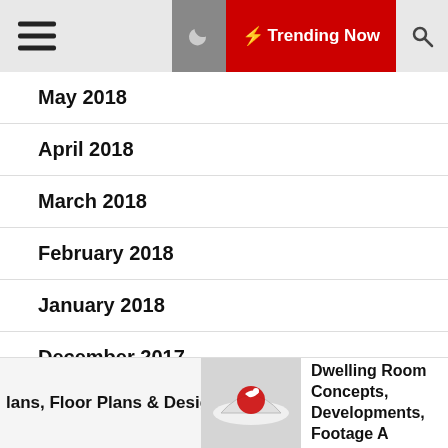☰  ☾  ⚡ Trending Now  🔍
May 2018
April 2018
March 2018
February 2018
January 2018
December 2017
November 2017
lans, Floor Plans & Designs  [image]  Dwelling Room Concepts, Developments, Footage A